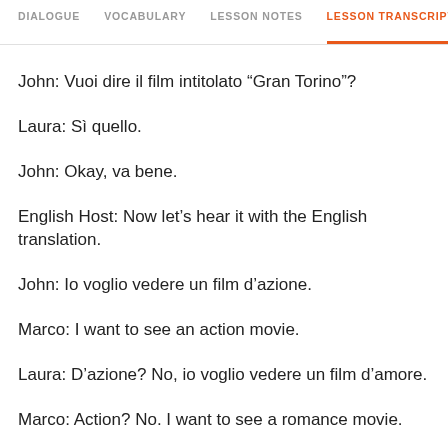DIALOGUE   VOCABULARY   LESSON NOTES   LESSON TRANSCRIPT   C
John: Vuoi dire il film intitolato “Gran Torino”?
Laura: Sì quello.
John: Okay, va bene.
English Host: Now let’s hear it with the English translation.
John: Io voglio vedere un film d’azione.
Marco: I want to see an action movie.
Laura: D’azione? No, io voglio vedere un film d’amore.
Marco: Action? No. I want to see a romance movie.